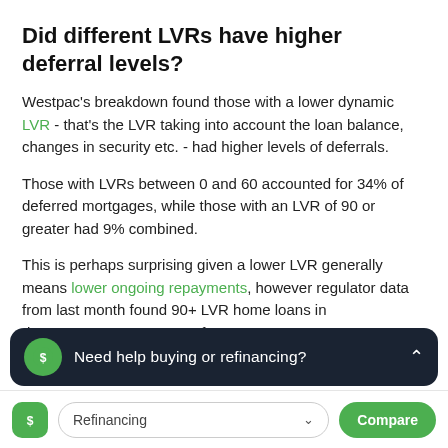Did different LVRs have higher deferral levels?
Westpac's breakdown found those with a lower dynamic LVR - that's the LVR taking into account the loan balance, changes in security etc. - had higher levels of deferrals.
Those with LVRs between 0 and 60 accounted for 34% of deferred mortgages, while those with an LVR of 90 or greater had 9% combined.
This is perhaps surprising given a lower LVR generally means lower ongoing repayments, however regulator data from last month found 90+ LVR home loans in de... of the overall market.
[Figure (screenshot): Dark overlay banner with green icon and text 'Need help buying or refinancing?' with a caret/chevron up icon on the right.]
[Figure (screenshot): Bottom navigation bar with green logo icon, a 'Refinancing' dropdown selector, and a green 'Compare' button.]